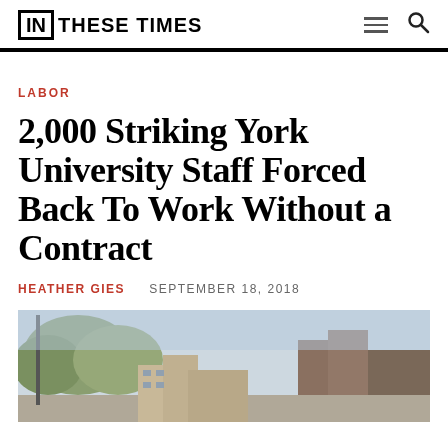IN THESE TIMES
LABOR
2,000 Striking York University Staff Forced Back To Work Without a Contract
HEATHER GIES   SEPTEMBER 18, 2018
[Figure (photo): Outdoor street scene near York University campus with trees and buildings visible]